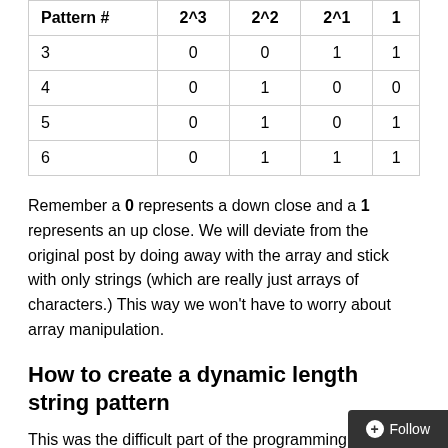| Pattern # | 2^3 | 2^2 | 2^1 | 1 |
| --- | --- | --- | --- | --- |
| 3 | 0 | 0 | 1 | 1 |
| 4 | 0 | 1 | 0 | 0 |
| 5 | 0 | 1 | 0 | 1 |
| 6 | 0 | 1 | 1 | 1 |
Remember a 0 represents a down close and a 1 represents an up close.  We will deviate from the original post by doing away with the array and stick with only strings (which are really just arrays of characters.)  This way we won't have to worry about array manipulation.
How to create a dynamic length string pattern
This was the difficult part of the programming.  I wanted to be able to optimize 3, 4 and 5 day patterns and I wanted to control this with using just inputs.  I discovered th